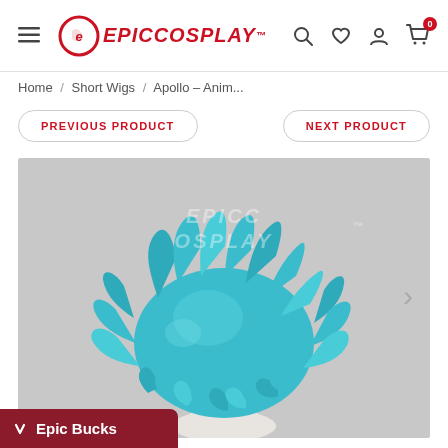EpicCosplay navigation bar with logo, search, wishlist, account, and cart icons
Home / Short Wigs / Apollo - Anim...
PREVIOUS PRODUCT
NEXT PRODUCT
[Figure (photo): A teal/aqua short spiky cosplay wig displayed on a white mannequin head against a light gray background, with an EpicCosplay watermark.]
Epic Bucks